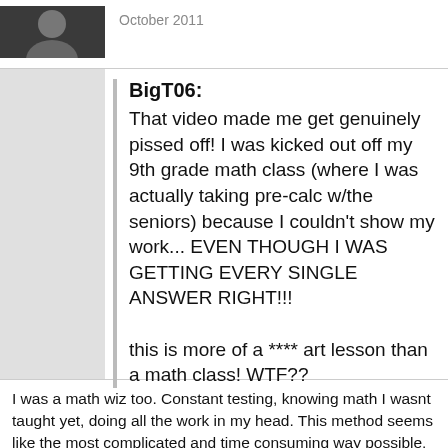October 2011
BigT06:
That video made me get genuinely pissed off! I was kicked out off my 9th grade math class (where I was actually taking pre-calc w/the seniors) because I couldn't show my work... EVEN THOUGH I WAS GETTING EVERY SINGLE ANSWER RIGHT!!!

this is more of a **** art lesson than a math class! WTF??
I was a math wiz too. Constant testing, knowing math I wasnt taught yet, doing all the work in my head. This method seems like the most complicated and time consuming way possible. Try working a physics formula with this. You'd be so focused on the grid that youll lose focus on the important details, and the space probe ends